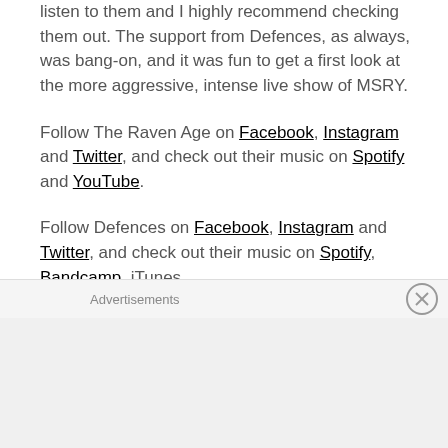good live band, I really enjoyed my first listen to them and I highly recommend checking them out. The support from Defences, as always, was bang-on, and it was fun to get a first look at the more aggressive, intense live show of MSRY.
Follow The Raven Age on Facebook, Instagram and Twitter, and check out their music on Spotify and YouTube.
Follow Defences on Facebook, Instagram and Twitter, and check out their music on Spotify, Bandcamp, iTunes
Advertisements